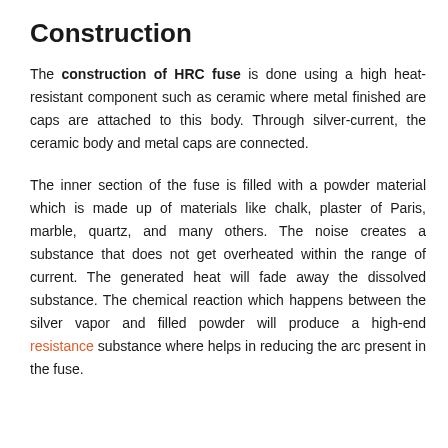Construction
The construction of HRC fuse is done using a high heat-resistant component such as ceramic where metal finished are caps are attached to this body. Through silver-current, the ceramic body and metal caps are connected.
The inner section of the fuse is filled with a powder material which is made up of materials like chalk, plaster of Paris, marble, quartz, and many others. The noise creates a substance that does not get overheated within the range of current. The generated heat will fade away the dissolved substance. The chemical reaction which happens between the silver vapor and filled powder will produce a high-end resistance substance where helps in reducing the arc present in the fuse.